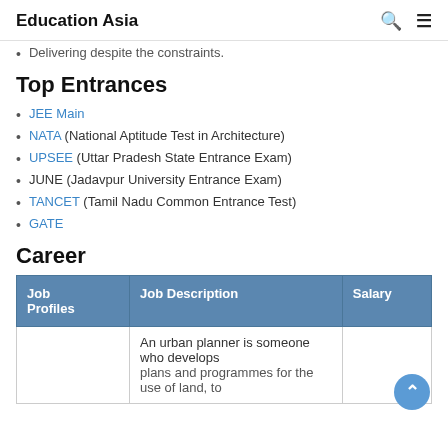Education Asia
Delivering despite the constraints.
Top Entrances
JEE Main
NATA (National Aptitude Test in Architecture)
UPSEE (Uttar Pradesh State Entrance Exam)
JUNE (Jadavpur University Entrance Exam)
TANCET (Tamil Nadu Common Entrance Test)
GATE
Career
| Job Profiles | Job Description | Salary |
| --- | --- | --- |
|  | An urban planner is someone who develops plans and programmes for the use of land, to... |  |